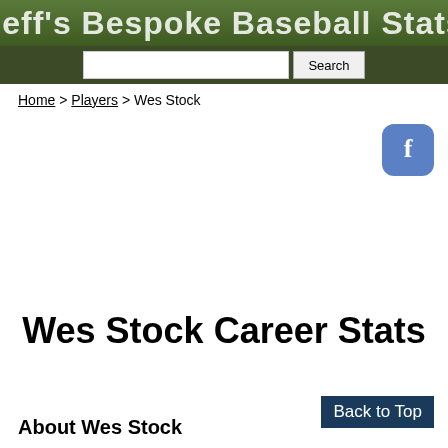Jeff's Bespoke Baseball Stats
Search
Home > Players > Wes Stock
[Figure (logo): Facebook button icon (blue rounded square with white f)]
Wes Stock Career Stats
Back to Top
About Wes Stock